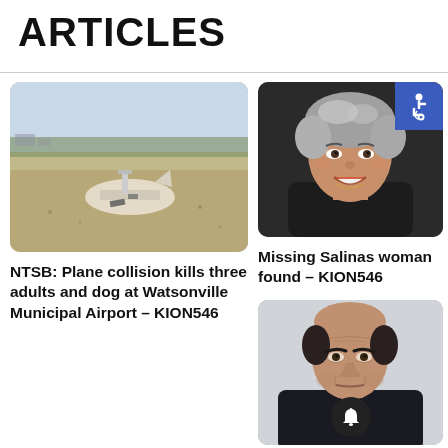ARTICLES
[Figure (photo): Plane crash debris on a brown field near an airport runway]
NTSB: Plane collision kills three adults and dog at Watsonville Municipal Airport – KION546
[Figure (photo): Smiling older woman with grey hair, missing Salinas woman; accessibility icon in top-right corner]
Missing Salinas woman found – KION546
[Figure (photo): Older man in dark suit with red tie, serious expression; bell notification icon overlay]
Former attorney general of Mexico arrested over